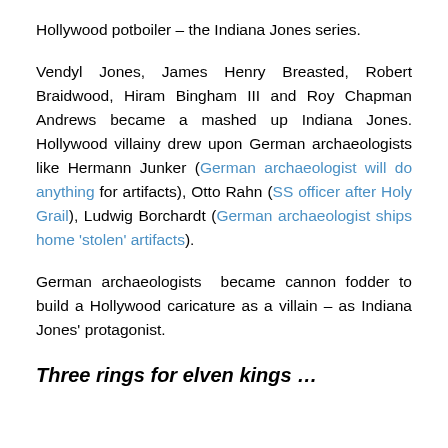Hollywood potboiler – the Indiana Jones series.
Vendyl Jones, James Henry Breasted, Robert Braidwood, Hiram Bingham III and Roy Chapman Andrews became a mashed up Indiana Jones. Hollywood villainy drew upon German archaeologists like Hermann Junker (German archaeologist will do anything for artifacts), Otto Rahn (SS officer after Holy Grail), Ludwig Borchardt (German archaeologist ships home 'stolen' artifacts).
German archaeologists  became cannon fodder to build a Hollywood caricature as a villain – as Indiana Jones' protagonist.
Three rings for elven kings …